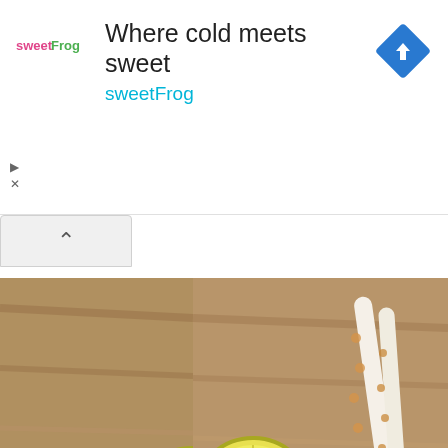[Figure (screenshot): sweetFrog advertisement banner with text 'Where cold meets sweet' and 'sweetFrog' brand name in teal, sweetFrog logo on left, blue navigation icon on right]
[Figure (photo): Photo of a lemonade drink in a plastic cup with two polka-dot straws and a lemon slice, on a wooden background]
This website uses cookies to offer you a better experience. If you use this site, you consent to our use of cookies. Learn more
[Figure (screenshot): Blue 'I Agree' button with chevron arrows on the left side]